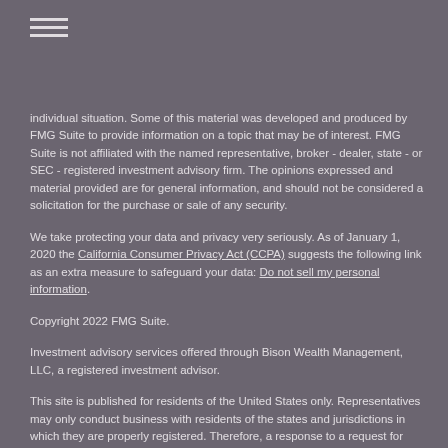[Figure (other): Hamburger menu icon with three horizontal lines]
individual situation. Some of this material was developed and produced by FMG Suite to provide information on a topic that may be of interest. FMG Suite is not affiliated with the named representative, broker - dealer, state - or SEC - registered investment advisory firm. The opinions expressed and material provided are for general information, and should not be considered a solicitation for the purchase or sale of any security.
We take protecting your data and privacy very seriously. As of January 1, 2020 the California Consumer Privacy Act (CCPA) suggests the following link as an extra measure to safeguard your data: Do not sell my personal information.
Copyright 2022 FMG Suite.
Investment advisory services offered through Bison Wealth Management, LLC, a registered investment advisor.
This site is published for residents of the United States only. Representatives may only conduct business with residents of the states and jurisdictions in which they are properly registered. Therefore, a response to a request for information may be delayed until appropriate registration is obtained or exemption from registration is determined. Not all services referenced on this site are available in every state and through every advisor listed. For additional information, please contact Pomeroy Smith II at 919.610.0567 or email at psmith@bisonwealth.net.